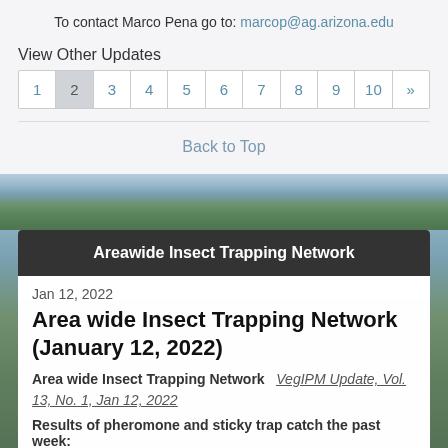To contact Marco Pena go to: marcop@ag.arizona.edu
View Other Updates
1 2 3 4 5 6 7 8 9 10 »
Back to Top
Areawide Insect Trapping Network
Jan 12, 2022
Area wide Insect Trapping Network (January 12, 2022)
Area wide Insect Trapping Network   VegIPM Update, Vol. 13, No. 1, Jan 12, 2022
Results of pheromone and sticky trap catch the past week: